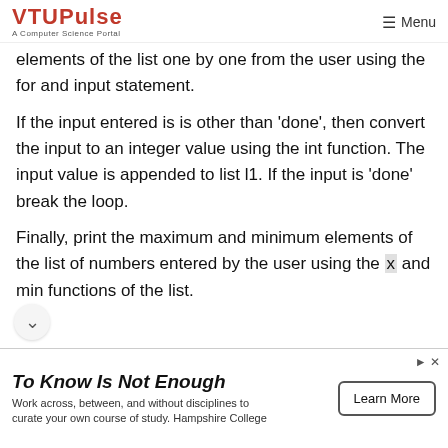VTUPulse — A Computer Science Portal | Menu
elements of the list one by one from the user using the for and input statement.
If the input entered is is other than 'done', then convert the input to an integer value using the int function. The input value is appended to list l1. If the input is 'done' break the loop.
Finally, print the maximum and minimum elements of the list of numbers entered by the user using the max and min functions of the list.
[Figure (infographic): Advertisement banner: 'To Know Is Not Enough' with subtext 'Work across, between, and without disciplines to curate your own course of study. Hampshire College' and a 'Learn More' button.]